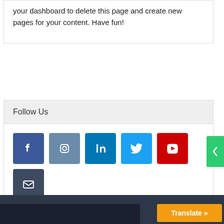your dashboard to delete this page and create new pages for your content. Have fun!
Follow Us
[Figure (infographic): Row of 6 social media icon buttons: Facebook (blue), Instagram (steel blue), LinkedIn (blue), Twitter (light blue), YouTube (red), Email (dark slate)]
[Figure (other): Green sidebar toggle tab with left-pointing chevron arrow]
[Figure (other): Dark navy/charcoal footer bar with partial image strip and orange Translate button]